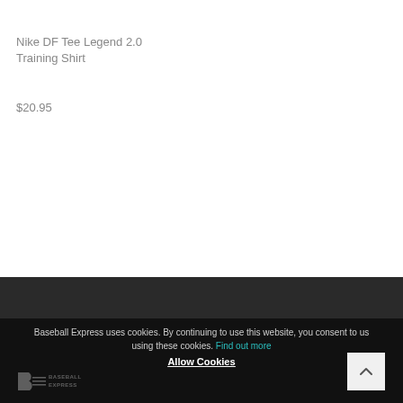Nike DF Tee Legend 2.0 Training Shirt
$20.95
Baseball Express uses cookies. By continuing to use this website, you consent to us using these cookies. Find out more
Allow Cookies
[Figure (logo): Baseball Express logo in dark/metallic style]